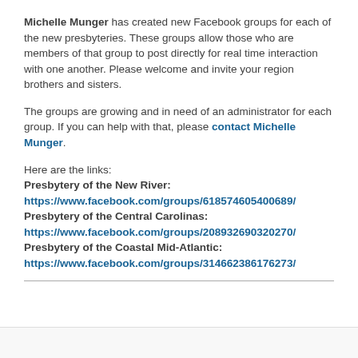Michelle Munger has created new Facebook groups for each of the new presbyteries. These groups allow those who are members of that group to post directly for real time interaction with one another. Please welcome and invite your region brothers and sisters.
The groups are growing and in need of an administrator for each group. If you can help with that, please contact Michelle Munger.
Here are the links:
Presbytery of the New River:
https://www.facebook.com/groups/618574605400689/
Presbytery of the Central Carolinas:
https://www.facebook.com/groups/208932690320270/
Presbytery of the Coastal Mid-Atlantic:
https://www.facebook.com/groups/314662386176273/